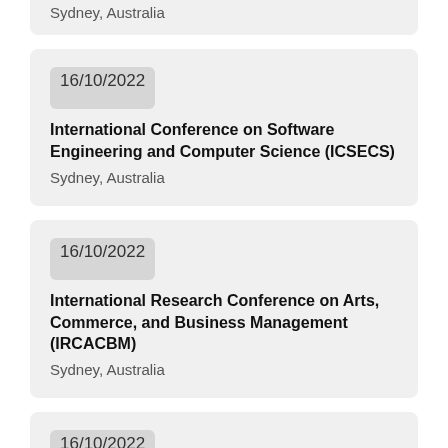Sydney, Australia
16/10/2022
International Conference on Software Engineering and Computer Science (ICSECS)
Sydney, Australia
16/10/2022
International Research Conference on Arts, Commerce, and Business Management (IRCACBM)
Sydney, Australia
16/10/2022